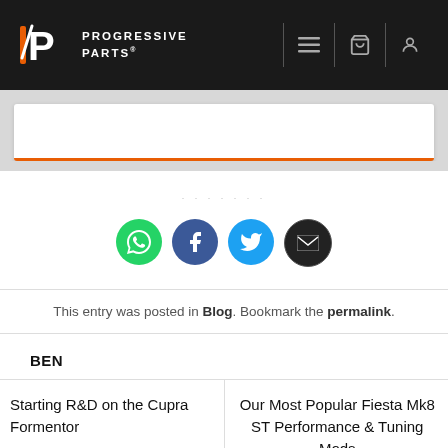[Figure (logo): Progressive Parts logo — stylized PP mark in orange/white on dark background with brand name text]
[Figure (screenshot): Search bar input box with orange bottom border on grey background]
[Figure (infographic): Four social sharing buttons: WhatsApp (green), Facebook (dark blue), Twitter (blue), Email (black)]
This entry was posted in Blog. Bookmark the permalink.
BEN
Starting R&D on the Cupra Formentor
Our Most Popular Fiesta Mk8 ST Performance & Tuning Mods